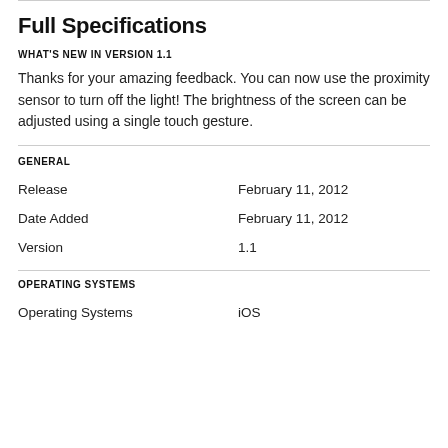Full Specifications
WHAT'S NEW IN VERSION 1.1
Thanks for your amazing feedback. You can now use the proximity sensor to turn off the light! The brightness of the screen can be adjusted using a single touch gesture.
GENERAL
| Release | February 11, 2012 |
| Date Added | February 11, 2012 |
| Version | 1.1 |
OPERATING SYSTEMS
| Operating Systems | iOS |